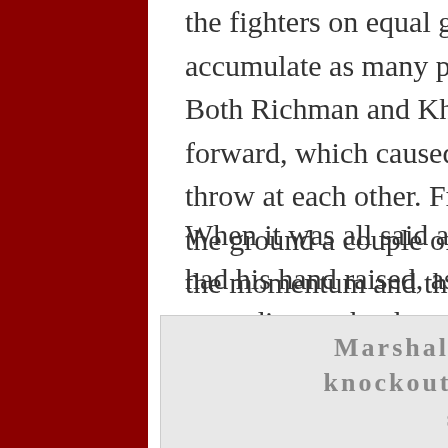the fighters on equal ground, with both trying to accumulate as many points from the judges as possible. Both Richman and Khasbulaev were trying to press forward, which caused them to meet in the middle and throw at each other. Frodo was able to bring the fight to the ground a couple of times in the round, which tilted the momentum and the round in his favor.
When it was all said and done, it was the Russian who had his hand raised, as he won every available round according to the three judges. The victory guarantees a title shot for Frodo, who will have his chance at Bellator gold in the future.
Marshall lands huge knockout to earn title shot